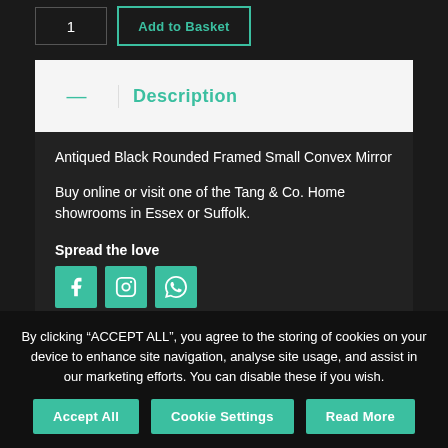1  Add to Basket
— Description
Antiqued Black Rounded Framed Small Convex Mirror
Buy online or visit one of the Tang & Co. Home showrooms in Essex or Suffolk.
Spread the love
[Figure (other): Social media share icons: Facebook, Instagram, WhatsApp]
+ Additional information
By clicking "ACCEPT ALL", you agree to the storing of cookies on your device to enhance site navigation, analyse site usage, and assist in our marketing efforts. You can disable these if you wish.
Accept All  Cookie Settings  Read More